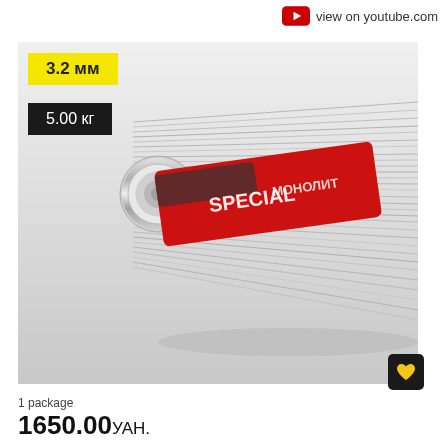view on youtube.com
[Figure (photo): Welding rods/filler wire bundle (Monolith Special brand, 3.2mm, 5.00kg package) with red and silver cylindrical tube packaging]
3.2 мм
5.00 кг
1 package
1650.00 УАН.